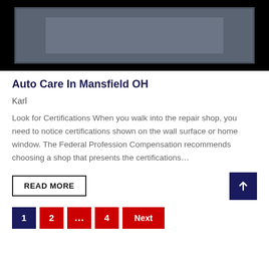[Figure (photo): Dark image block with gray rectangle in center, appearing to be a placeholder image]
Auto Care In Mansfield OH
Karl
Look for Certifications When you walk into the repair shop, you need to notice certifications shown on the wall surface or home window. The Federal Profession Compensation recommends choosing a shop that presents the certifications…
READ MORE
1 2 … 4 Next